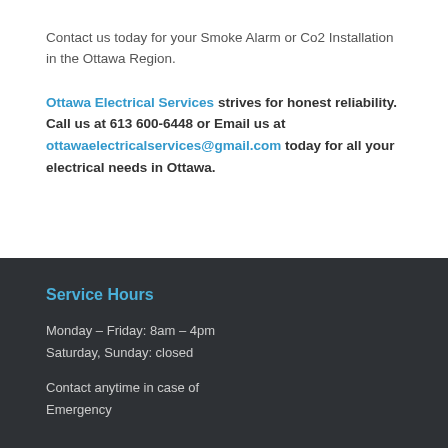Contact us today for your Smoke Alarm or Co2 Installation in the Ottawa Region.
Ottawa Electrical Services strives for honest reliability. Call us at 613 600-6448 or Email us at ottawaelectricalservices@gmail.com today for all your electrical needs in Ottawa.
Service Hours
Monday – Friday: 8am – 4pm
Saturday, Sunday: closed
Contact anytime in case of Emergency